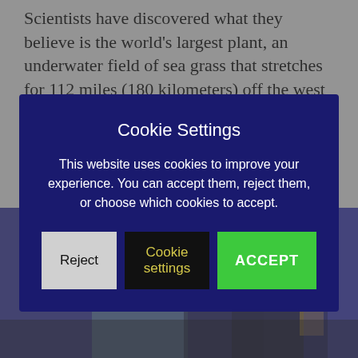Scientists have discovered what they believe is the world's largest plant, an underwater field of sea grass that stretches for 112 miles (180 kilometers) off the west coast of Australia. The sea grass plant is believed to be around 4,500
[Figure (photo): A blurred photograph showing a person holding a trophy, with a Scripps institution banner visible in the background, against a blue-purple background.]
Cookie Settings
This website uses cookies to improve your experience. You can accept them, reject them, or choose which cookies to accept.
Reject | Cookie settings | ACCEPT